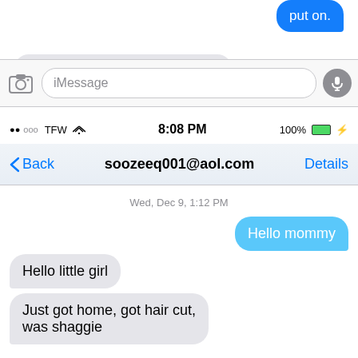[Figure (screenshot): iPhone iMessage conversation screenshot showing a chat with soozeeq001@aol.com. Status bar shows ●●ooo TFW wifi signal, 8:08 PM, 100% battery. Navigation bar has Back button and Details link. Messages shown: sent bubble 'put on.', received partial bubble, timestamp 'Wed, Dec 9, 1:12 PM', sent 'Hello mommy', received 'Hello little girl', received 'Just got home, got hair cut, was shaggie'. Input bar shows iMessage field with camera and microphone icons.]